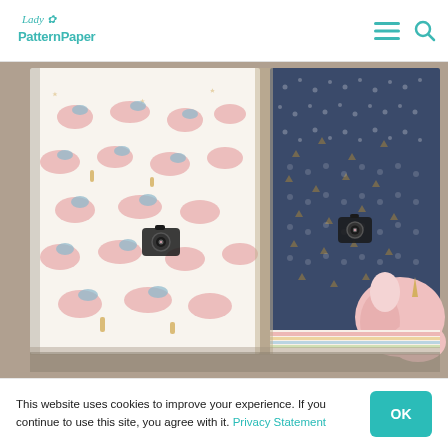Lady Pattern Paper
[Figure (photo): Open scrapbook/journal showing two decorative pages: left page has a white background with pink unicorns, gold stars, blue leaves pattern; right page has a dark navy blue background with white and gold dot/triangle pattern and a pink unicorn cutout at the bottom right corner. Both pages have small camera icon embellishments in the center.]
This website uses cookies to improve your experience. If you continue to use this site, you agree with it. Privacy Statement